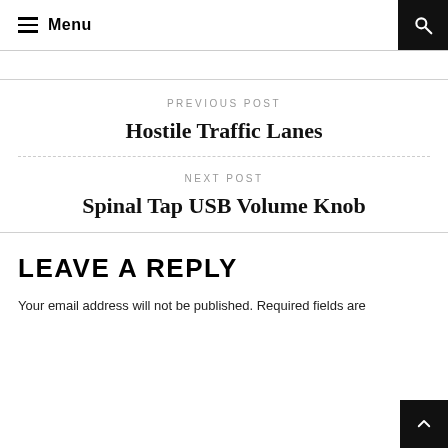Menu
PREVIOUS POST
Hostile Traffic Lanes
NEXT POST
Spinal Tap USB Volume Knob
LEAVE A REPLY
Your email address will not be published. Required fields are